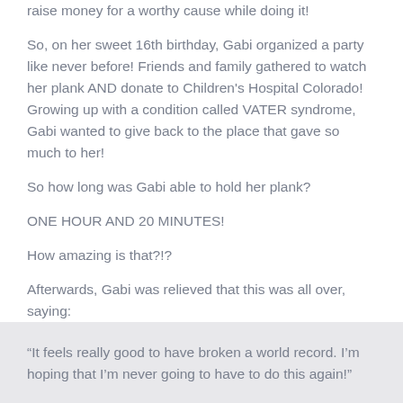raise money for a worthy cause while doing it!
So, on her sweet 16th birthday, Gabi organized a party like never before! Friends and family gathered to watch her plank AND donate to Children's Hospital Colorado! Growing up with a condition called VATER syndrome, Gabi wanted to give back to the place that gave so much to her!
So how long was Gabi able to hold her plank?
ONE HOUR AND 20 MINUTES!
How amazing is that?!?
Afterwards, Gabi was relieved that this was all over, saying:
“It feels really good to have broken a world record. I’m hoping that I’m never going to have to do this again!”